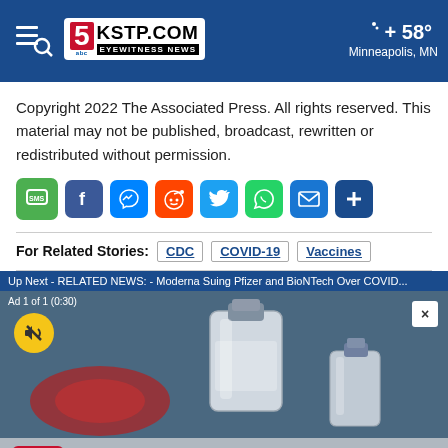KSTP.COM EYEWITNESS NEWS | 58° Minneapolis, MN
Copyright 2022 The Associated Press. All rights reserved. This material may not be published, broadcast, rewritten or redistributed without permission.
[Figure (infographic): Social share buttons: SMS, Facebook, Messenger, Reddit, Twitter, WhatsApp, Email, Plus]
For Related Stories: CDC COVID-19 Vaccines
Up Next - RELATED NEWS: - Moderna Suing Pfizer and BioNTech Over COVID...
[Figure (photo): Video ad showing vaccine bottles on blue background. Ad 1 of 1 (0:30) label visible. Mute button shown. Close (X) button.]
[Figure (infographic): Twin City Discount Granite advertisement banner. Starting at $39 sq/ft installed. (763) 862-0888]